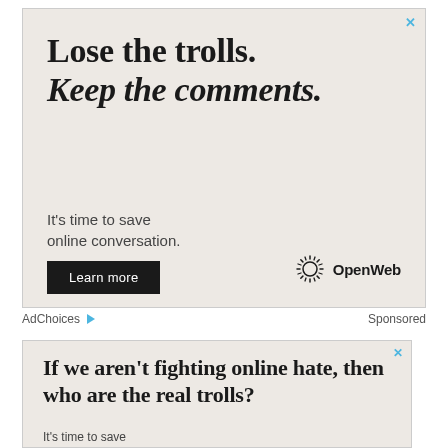[Figure (other): Advertisement banner with light beige background. Headline reads 'Lose the trolls. Keep the comments.' in serif font (first line bold, second line bold italic). Subtext: 'It's time to save online conversation.' Black button 'Learn more'. OpenWeb logo bottom right with sunburst icon. Close X in top right corner.]
AdChoices ▷  Sponsored
[Figure (other): Second advertisement banner with light beige background. Headline reads 'If we aren't fighting online hate, then who are the real trolls?' in bold serif font. Subtext: 'It's time to save online conversation.' Close X in top right corner. Partially cut off at bottom.]